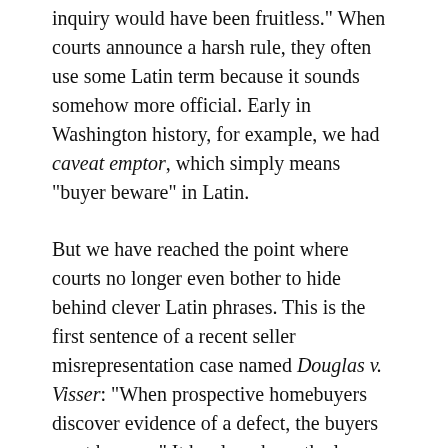inquiry would have been fruitless." When courts announce a harsh rule, they often use some Latin term because it sounds somehow more official. Early in Washington history, for example, we had caveat emptor, which simply means “buyer beware” in Latin.
But we have reached the point where courts no longer even bother to hide behind clever Latin phrases. This is the first sentence of a recent seller misrepresentation case named Douglas v. Visser: “When prospective homebuyers discover evidence of a defect, the buyers must beware.” It has long been the law that a buyer who discovers a defect cannot sue for concealment later. What has changed is the amount of information necessary to put a buyer on notice and the amount of diligence that is required of the buyer.
In this new case of Douglas v. Visser, the sellers had purchased the property as a fixer and decided that it was